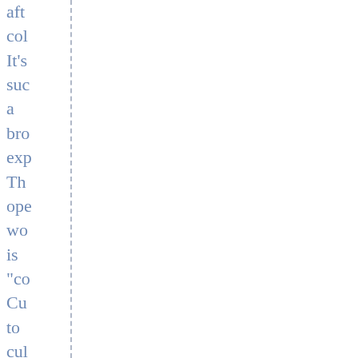aft col It's suc a bro exp Th ope wo is "co Cu to cul lan to lan geo